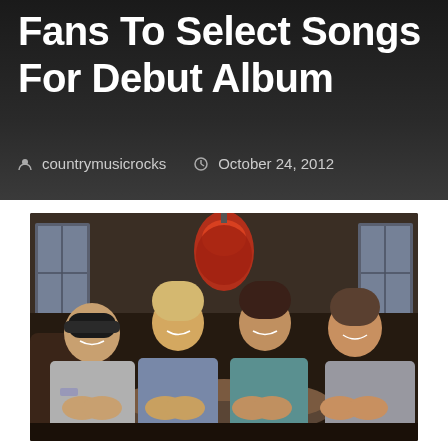Fans To Select Songs For Debut Album
countrymusicrocks   October 24, 2012
[Figure (photo): Four men sitting around a round table in a dimly lit restaurant/lounge setting, smiling at the camera. There is a red pendant light hanging above them. The men are casually dressed.]